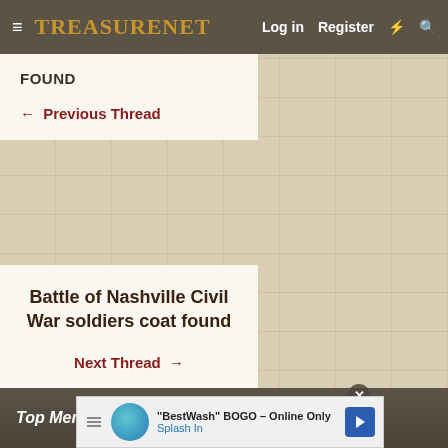TreasureNet  Log in  Register
FOUND
← Previous Thread
Battle of Nashville Civil War soldiers coat found
Next Thread →
Top Member Reactions
"BestWash" BOGO - Online Only  Splash In